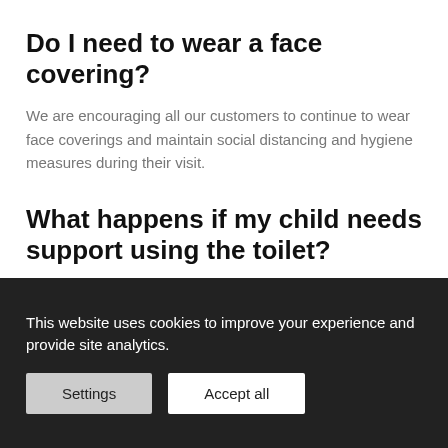Do I need to wear a face covering?
We are encouraging all our customers to continue to wear face coverings and maintain social distancing and hygiene measures during their visit.
What happens if my child needs support using the toilet?
We would ask that you encourage your child to use the toilet facilities before their lesson. However, should they need to use the facilities during the lesson a member of staff will ask you to help them and then return them back
This website uses cookies to improve your experience and provide site analytics.